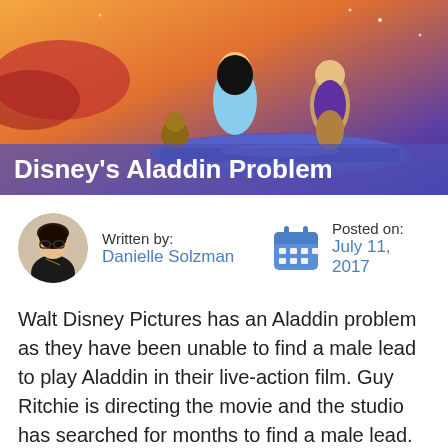[Figure (illustration): Animated still from Disney's Aladdin showing characters on a magic carpet with a purple/orange sky background. Characters include Aladdin, Jasmine, Abu, and Carpet.]
Disney's Aladdin Problem
Written by:
Danielle Solzman
Posted on:
July 11, 2017
Walt Disney Pictures has an Aladdin problem as they have been unable to find a male lead to play Aladdin in their live-action film. Guy Ritchie is directing the movie and the studio has searched for months to find a male lead.